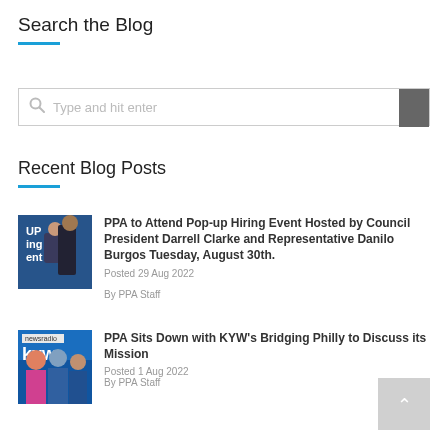Search the Blog
[Figure (screenshot): Search input box with magnifier icon and placeholder text 'Type and hit enter', with a grey submit button on the right]
Recent Blog Posts
[Figure (photo): Photo of people at a pop-up hiring event with blue background, text 'UP', 'ing', 'ent']
PPA to Attend Pop-up Hiring Event Hosted by Council President Darrell Clarke and Representative Danilo Burgos Tuesday, August 30th.
Posted 29 Aug 2022
By PPA Staff
[Figure (photo): Photo of people at KYW newsradio Bridging Philly event with blue background]
PPA Sits Down with KYW's Bridging Philly to Discuss its Mission
Posted 1 Aug 2022
By PPA Staff